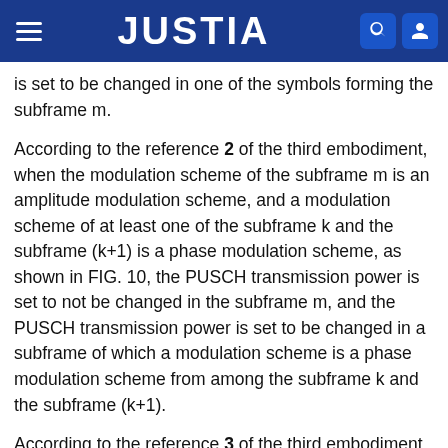JUSTIA
is set to be changed in one of the symbols forming the subframe m.
According to the reference 2 of the third embodiment, when the modulation scheme of the subframe m is an amplitude modulation scheme, and a modulation scheme of at least one of the subframe k and the subframe (k+1) is a phase modulation scheme, as shown in FIG. 10, the PUSCH transmission power is set to not be changed in the subframe m, and the PUSCH transmission power is set to be changed in a subframe of which a modulation scheme is a phase modulation scheme from among the subframe k and the subframe (k+1).
According to the reference 3 of the third embodiment, when both the modulation scheme of the subframe m and the modulation scheme of the subframe k and the